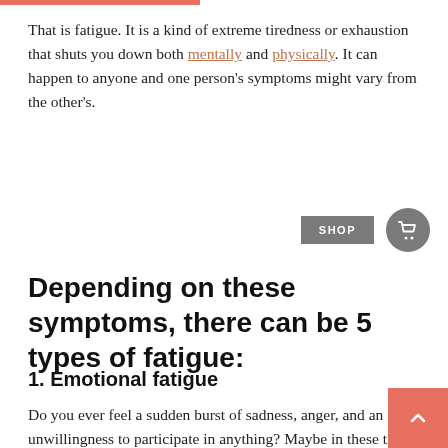That is fatigue. It is a kind of extreme tiredness or exhaustion that shuts you down both mentally and physically. It can happen to anyone and one person's symptoms might vary from the other's.
Depending on these symptoms, there can be 5 types of fatigue:
1. Emotional fatigue
Do you ever feel a sudden burst of sadness, anger, and an unwillingness to participate in anything? Maybe in these times you cry a lot or you don't feel anything at all. While you feel many emotions, you do not react to them anymore. Maybe your body is too tired to even let you vent out your emotions.